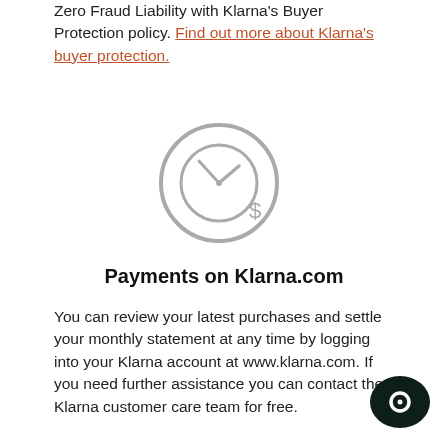Zero Fraud Liability with Klarna's Buyer Protection policy. Find out more about Klarna's buyer protection.
[Figure (illustration): A clock icon with a dollar sign, representing payment timing. The clock face shows roughly 10:10, with an outer circle and inner circular clock outline in grey, and a '$' symbol at the lower right of the clock.]
Payments on Klarna.com
You can review your latest purchases and settle your monthly statement at any time by logging into your Klarna account at www.klarna.com. If you need further assistance you can contact the Klarna customer care team for free.